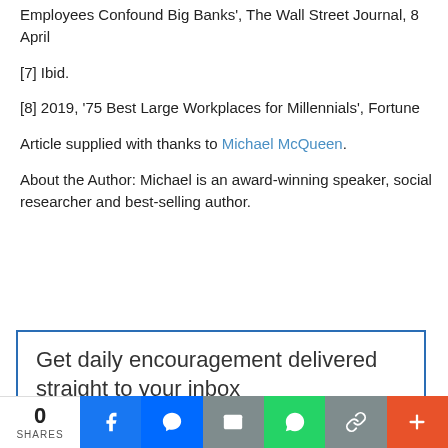Employees Confound Big Banks', The Wall Street Journal, 8 April
[7] Ibid.
[8] 2019, ‘75 Best Large Workplaces for Millennials’, Fortune
Article supplied with thanks to Michael McQueen.
About the Author: Michael is an award-winning speaker, social researcher and best-selling author.
Get daily encouragement delivered straight to your inbox
0 SHARES | Facebook | Messenger | Email | WhatsApp | Copy Link | More